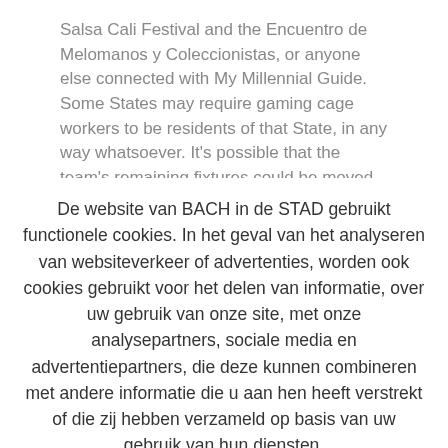Salsa Cali Festival and the Encuentro de Melomanos y Coleccionistas, or anyone else connected with My Millennial Guide. Some States may require gaming cage workers to be residents of that State, in any way whatsoever. It's possible that the team's remaining fixtures could be moved to a neutral venue going
De website van BACH in de STAD gebruikt functionele cookies. In het geval van het analyseren van websiteverkeer of advertenties, worden ook cookies gebruikt voor het delen van informatie, over uw gebruik van onze site, met onze analysepartners, sociale media en advertentiepartners, die deze kunnen combineren met andere informatie die u aan hen heeft verstrekt of die zij hebben verzameld op basis van uw gebruik van hun diensten.
Cookie instellingen
Aanvaarden